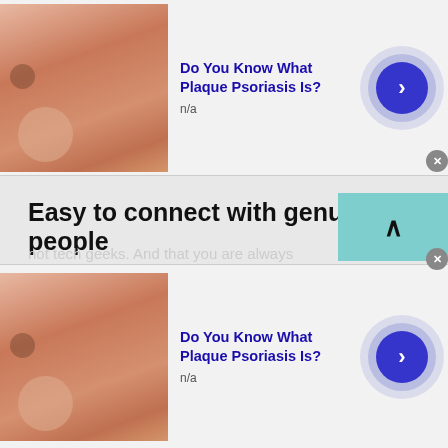[Figure (screenshot): Top advertisement banner showing skin close-up image with text 'Do You Know What Plaque Psoriasis Is?' and n/a subtitle, with blue arrow button]
Easy to connect with genuine people
Since you will already be aware of all its details, it will help you to evaluate if the person is guiding you correctly or not. Based on those results you can make a connection with them based on their knowledge. This act will create an attraction towards you. The reason being, it will portray that you are one of those people of the world who a...
[Figure (screenshot): Bottom advertisement banner showing skin close-up image with text 'Do You Know What Plaque Psoriasis Is?' and n/a subtitle, with blue arrow button]